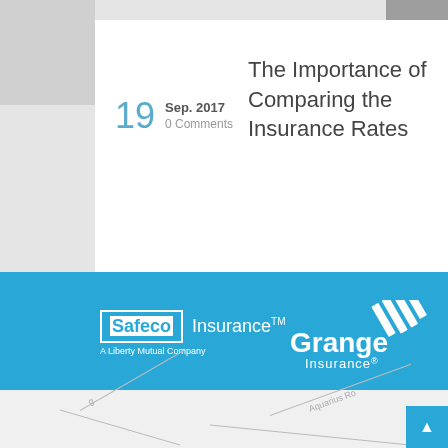The Importance of Comparing the Insurance Rates
19
Sep. 2017
0 Comments
[Figure (logo): Safeco Insurance - A Liberty Mutual Company logo, white text on blue banner background]
[Figure (logo): Grange Insurance logo with diagonal stripe graphic, white text on blue banner background]
[Figure (map): Partial street map showing roads including Aquarius Road at bottom of page]